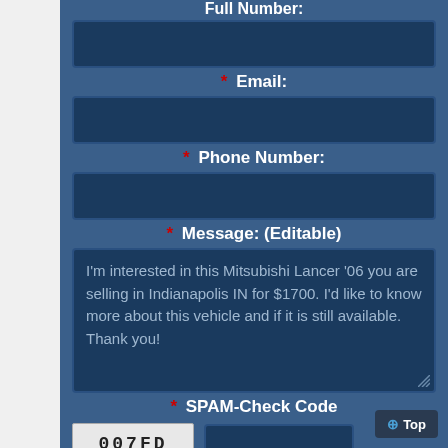Full Number:
[Figure (other): Empty text input box for Full Number field]
* Email:
[Figure (other): Empty text input box for Email field]
* Phone Number:
[Figure (other): Empty text input box for Phone Number field]
* Message: (Editable)
I'm interested in this Mitsubishi Lancer '06 you are selling in Indianapolis IN for $1700. I'd like to know more about this vehicle and if it is still available. Thank you!
* SPAM-Check Code
[Figure (other): CAPTCHA image showing code 007FD next to an empty input box]
Top